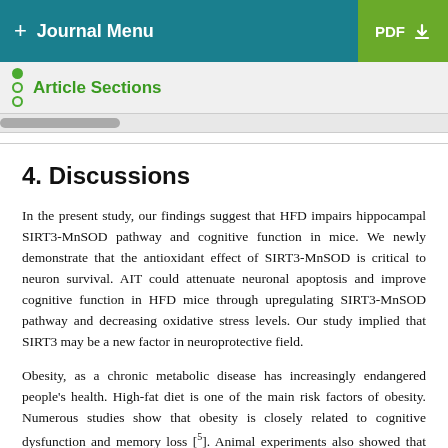+ Journal Menu | PDF
Article Sections
4. Discussions
In the present study, our findings suggest that HFD impairs hippocampal SIRT3-MnSOD pathway and cognitive function in mice. We newly demonstrate that the antioxidant effect of SIRT3-MnSOD is critical to neuron survival. AIT could attenuate neuronal apoptosis and improve cognitive function in HFD mice through upregulating SIRT3-MnSOD pathway and decreasing oxidative stress levels. Our study implied that SIRT3 may be a new factor in neuroprotective field.
Obesity, as a chronic metabolic disease has increasingly endangered people's health. High-fat diet is one of the main risk factors of obesity. Numerous studies show that obesity is closely related to cognitive dysfunction and memory loss [5]. Animal experiments also showed that high-fat diet for 8 weeks can